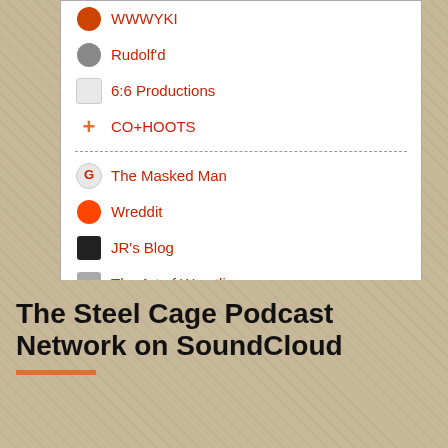WWWYKI
Rudolf'd
6:6 Productions
CO+HOOTS
The Masked Man
Wreddit
JR's Blog
The Art of Wrestling
The Baltimore Sun
Poughkeepsie Journal
Chris Harrington
Cageside Seats
Voices of Wrestling
Wrestling on Earth
The Steel Cage Podcast Network on SoundCloud